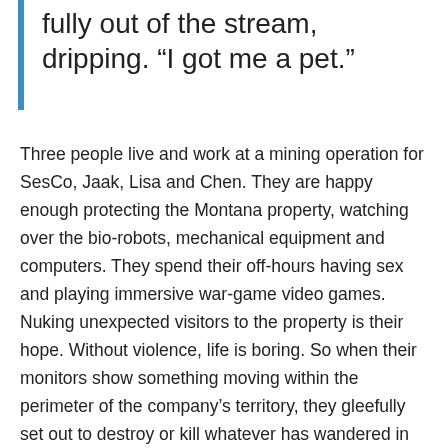fully out of the stream, dripping. “I got me a pet.”
Three people live and work at a mining operation for SesCo, Jaak, Lisa and Chen. They are happy enough protecting the Montana property, watching over the bio-robots, mechanical equipment and computers. They spend their off-hours having sex and playing immersive war-game video games. Nuking unexpected visitors to the property is their hope. Without violence, life is boring. So when their monitors show something moving within the perimeter of the company’s territory, they gleefully set out to destroy or kill whatever has wandered in or invaded; they don’t care which. Shockingly, they discover a dog, a REAL dog. Jaak wants to keep it.